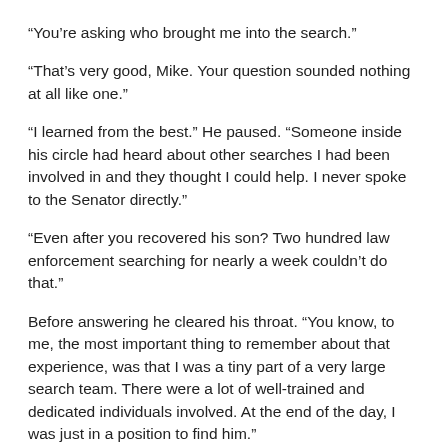“You’re asking who brought me into the search.”
“That’s very good, Mike. Your question sounded nothing at all like one.”
“I learned from the best.” He paused. “Someone inside his circle had heard about other searches I had been involved in and they thought I could help. I never spoke to the Senator directly.”
“Even after you recovered his son? Two hundred law enforcement searching for nearly a week couldn’t do that.”
Before answering he cleared his throat. “You know, to me, the most important thing to remember about that experience, was that I was a tiny part of a very large search team. There were a lot of well-trained and dedicated individuals involved. At the end of the day, I was just in a position to find him.”
“And you haven’t spoken much about the case, until now,” Jessica said.